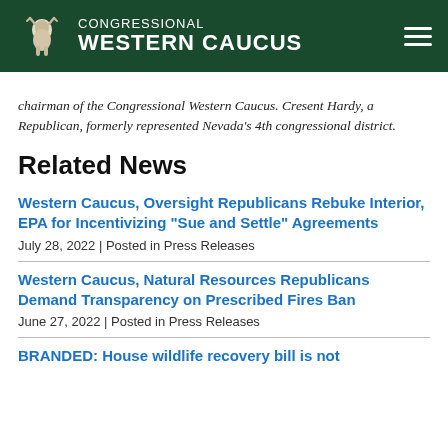CONGRESSIONAL WESTERN CAUCUS
chairman of the Congressional Western Caucus. Cresent Hardy, a Republican, formerly represented Nevada's 4th congressional district.
Related News
Western Caucus, Oversight Republicans Rebuke Interior, EPA for Incentivizing "Sue and Settle" Agreements
July 28, 2022 | Posted in Press Releases
Western Caucus, Natural Resources Republicans Demand Transparency on Prescribed Fires Ban
June 27, 2022 | Posted in Press Releases
BRANDED: House wildlife recovery bill is not